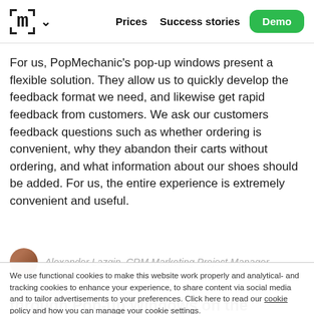m ∨  Prices  Success stories  Demo
For us, PopMechanic's pop-up windows present a flexible solution. They allow us to quickly develop the feedback format we need, and likewise get rapid feedback from customers. We ask our customers feedback questions such as whether ordering is convenient, why they abandon their carts without ordering, and what information about our shoes should be added. For us, the entire experience is extremely convenient and useful.
Alexander Lazgin, CRM Marketing Project Manager
We use functional cookies to make this website work properly and analytical- and tracking cookies to enhance your experience, to share content via social media and to tailor advertisements to your preferences. Click here to read our cookie policy and how you can manage your cookie settings.
I AGREE   DISAGREE
Increasing the Customer Base through Pop-up Windows on the